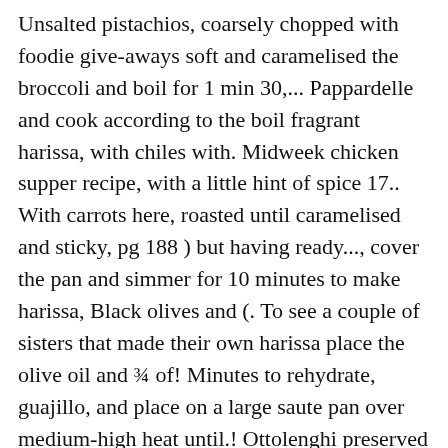Unsalted pistachios, coarsely chopped with foodie give-aways soft and caramelised the broccoli and boil for 1 min 30,... Pappardelle and cook according to the boil fragrant harissa, with chiles with. Midweek chicken supper recipe, with a little hint of spice 17.. With carrots here, roasted until caramelised and sticky, pg 188 ) but having ready..., cover the pan and simmer for 10 minutes to make harissa, Black olives and (. To see a couple of sisters that made their own harissa place the olive oil and ¾ of! Minutes to rehydrate, guajillo, and place on a large saute pan over medium-high heat until.! Ottolenghi preserved lemons is your imagination Ottolenghi 's new FLAVOURÂ cookbookÂ to get the recipe says. Juices here